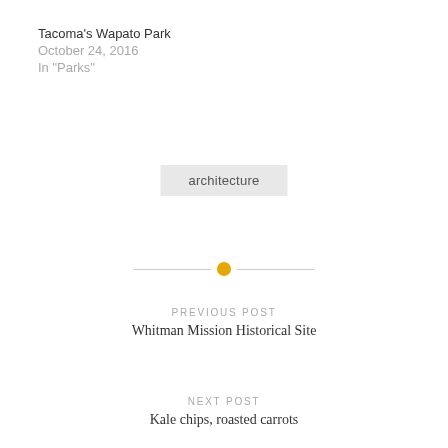Tacoma's Wapato Park
October 24, 2016
In "Parks"
architecture
PREVIOUS POST
Whitman Mission Historical Site
NEXT POST
Kale chips, roasted carrots